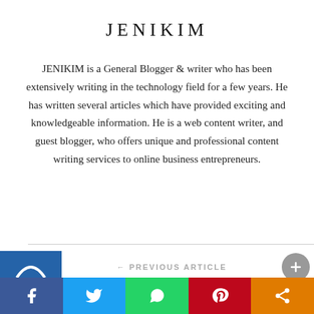JENIKIM
JENIKIM is a General Blogger & writer who has been extensively writing in the technology field for a few years. He has written several articles which have provided exciting and knowledgeable information. He is a web content writer, and guest blogger, who offers unique and professional content writing services to online business entrepreneurs.
← PREVIOUS ARTICLE
[Figure (other): Social sharing bar with Facebook, Twitter, WhatsApp, Pinterest, and share icons]